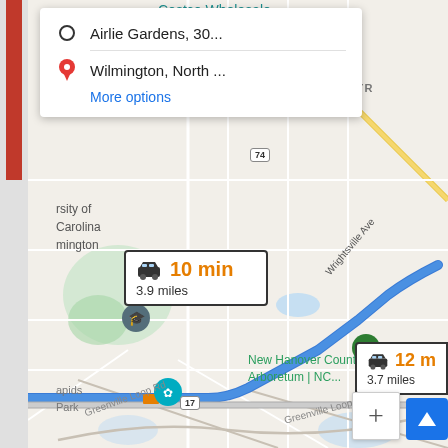[Figure (map): Google Maps screenshot showing directions from Airlie Gardens to Wilmington, North Carolina. The map displays a route through Wrightsville Ave area with route options showing 10 min / 3.9 miles and 12 min / 3.7 miles. Notable landmarks include Costco Wholesale, Regal Mayfaire, University of North Carolina Wilmington, New Hanover County Arboretum, and Greenville Loop Rd. Route shields for highways 74, 17, and 151 are visible.]
Airlie Gardens, 30...
Wilmington, North ...
More options
10 min
3.9 miles
12 m
3.7 miles